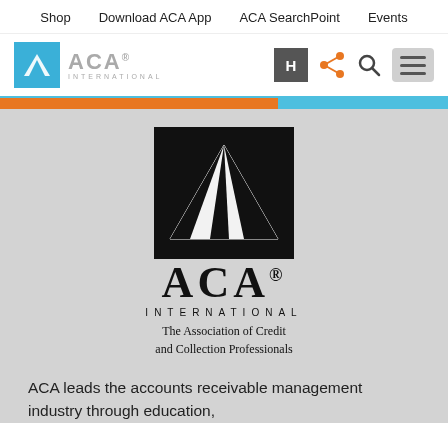Shop   Download ACA App   ACA SearchPoint   Events
[Figure (logo): ACA International logo in header with blue square icon and gray ACA International text, plus navigation icons (H, share, search, hamburger menu)]
[Figure (logo): ACA International large black logo with mountain/triangle icon above ACA text, INTERNATIONAL subtitle, and 'The Association of Credit and Collection Professionals' tagline on gray background]
ACA leads the accounts receivable management industry through education,